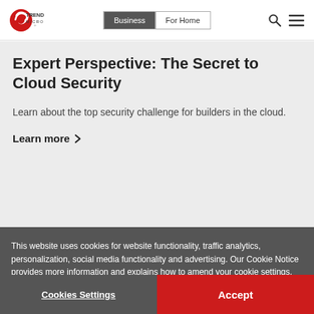Trend Micro | Business | For Home
Expert Perspective: The Secret to Cloud Security
Learn about the top security challenge for builders in the cloud.
Learn more >
This website uses cookies for website functionality, traffic analytics, personalization, social media functionality and advertising. Our Cookie Notice provides more information and explains how to amend your cookie settings. Learn more
See what indus...
Cookies Settings | Accept